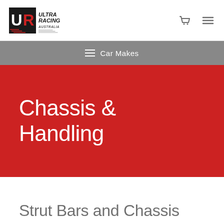[Figure (logo): Ultra Racing Australia logo — UR monogram in black and red with italic text 'ULTRA RACING AUSTRALIA' and speed lines]
Cart icon | Hamburger menu icon
≡  Car Makes
Chassis & Handling
Strut Bars and Chassis